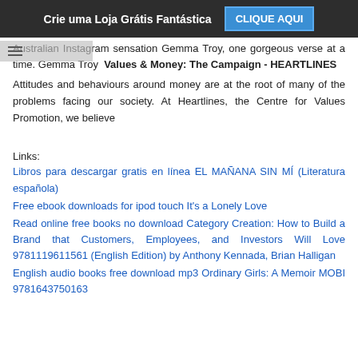Crie uma Loja Grátis Fantástica  CLIQUE AQUI
Australian Instagram sensation Gemma Troy, one gorgeous verse at a time. Gemma Troy  Values & Money: The Campaign - HEARTLINES
Attitudes and behaviours around money are at the root of many of the problems facing our society. At Heartlines, the Centre for Values Promotion, we believe
Links:
Libros para descargar gratis en línea EL MAÑANA SIN MÍ (Literatura española)
Free ebook downloads for ipod touch It's a Lonely Love
Read online free books no download Category Creation: How to Build a Brand that Customers, Employees, and Investors Will Love 9781119611561 (English Edition) by Anthony Kennada, Brian Halligan
English audio books free download mp3 Ordinary Girls: A Memoir MOBI 9781643750163